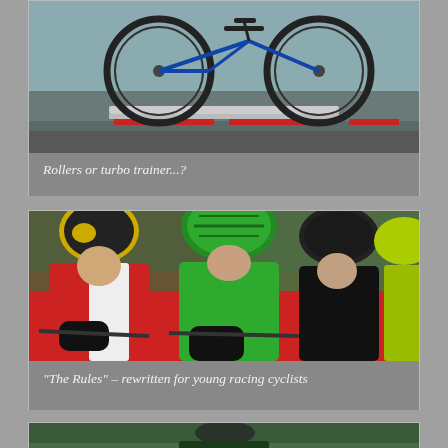[Figure (photo): Bicycle on rollers or turbo trainer indoors, partial view from above]
Rollers or turbo trainer...?
[Figure (photo): Young racing cyclists at start line wearing colourful helmets and jerseys]
“The Rules” – rewritten for young racing cyclists
[Figure (photo): Cyclist partial view, cropped at bottom of page]